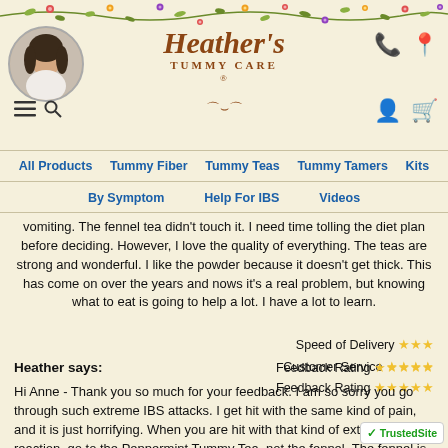[Figure (illustration): Decorative floral/vine border across the top of the page with colorful flowers and leaves]
[Figure (photo): Circular profile photo of a woman with dark hair in the top-left corner]
Heather's Tummy Care
All Products  Tummy Fiber  Tummy Teas  Tummy Tamers  Kits
By Symptom  Help For IBS  Videos
vomiting. The fennel tea didn't touch it. I need time tolling the diet plan before deciding. However, I love the quality of everything. The teas are strong and wonderful. I like the powder because it doesn't get thick. This has come on over the years and nows it's a real problem, but knowing what to eat is going to help a lot. I have a lot to learn.
Speed of Delivery ★★★
Customer Service ★★★★
Feedback Rating ★★★★★
Heather says:
Hi Anne - Thank you so much for your feedback. I am so sorry you go through such extreme IBS attacks. I get hit with the same kind of pain, and it is just horrifying. When you are hit with that kind of extreme reaction, go to the Peppermint Tummy Tea, not the fennel. The fennel is great for